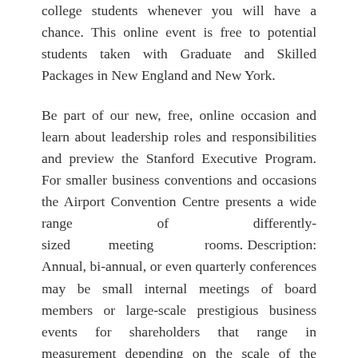college students whenever you will have a chance. This online event is free to potential students taken with Graduate and Skilled Packages in New England and New York.
Be part of our new, free, online occasion and learn about leadership roles and responsibilities and preview the Stanford Executive Program. For smaller business conventions and occasions the Airport Convention Centre presents a wide range of differently-sized meeting rooms. Description: Annual, bi-annual, or even quarterly conferences may be small internal meetings of board members or large-scale prestigious business events for shareholders that range in measurement depending on the scale of the corporate and shareholder turnout.
BusinessEvents is a very good instrument to